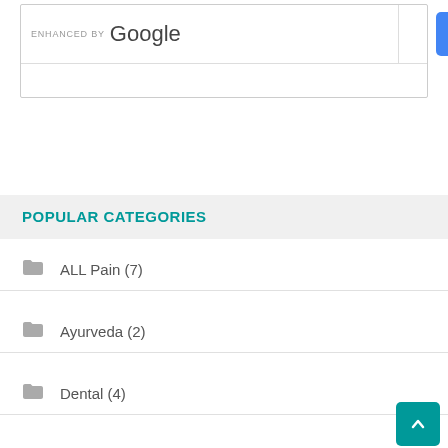[Figure (screenshot): Google enhanced search box with search input field and blue search button]
POPULAR CATEGORIES
ALL Pain (7)
Ayurveda (2)
Dental (4)
Depression (2)
Diabetes (6)
Diet (9)